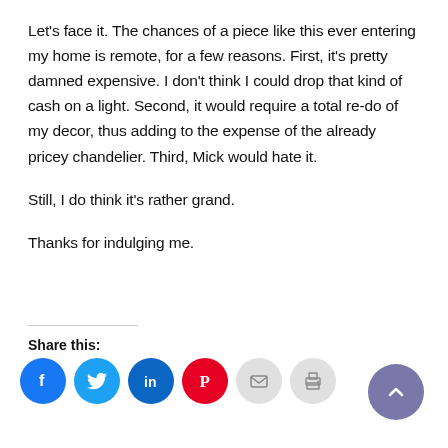Let's face it. The chances of a piece like this ever entering my home is remote, for a few reasons. First, it's pretty damned expensive. I don't think I could drop that kind of cash on a light. Second, it would require a total re-do of my decor, thus adding to the expense of the already pricey chandelier. Third, Mick would hate it.

Still, I do think it's rather grand.

Thanks for indulging me.
Share this:
[Figure (other): Social sharing icons: Facebook (blue), Twitter (cyan), LinkedIn (blue), Pinterest (red), Email (gray), Print (gray), and a scroll-to-top button (purple with upward chevron)]